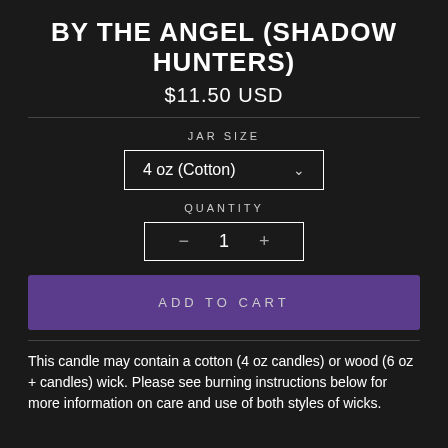BY THE ANGEL (SHADOW HUNTERS)
$11.50 USD
JAR SIZE
4 oz (Cotton)
QUANTITY
− 1 +
ADD TO CART
This candle may contain a cotton (4 oz candles) or wood (6 oz + candles) wick. Please see burning instructions below for more information on care and use of both styles of wicks.